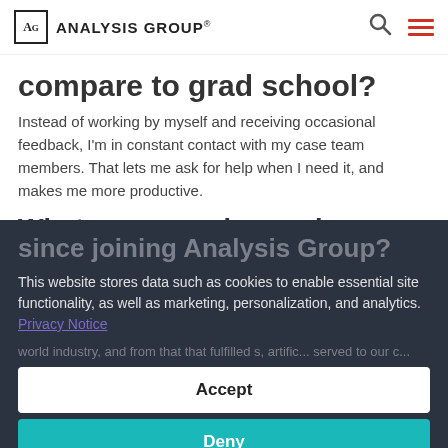AG ANALYSIS GROUP®
compare to grad school?
Instead of working by myself and receiving occasional feedback, I'm in constant contact with my case team members. That lets me ask for help when I need it, and makes me more productive.
What new experiences have you had
since joining Analysis Group?
This website stores data such as cookies to enable essential site functionality, as well as marketing, personalization, and analytics. Privacy Notice
Accept
Deny